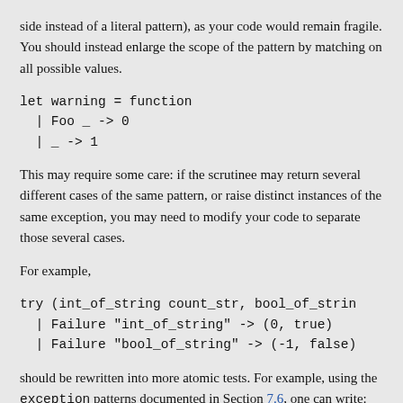side instead of a literal pattern), as your code would remain fragile. You should instead enlarge the scope of the pattern by matching on all possible values.
This may require some care: if the scrutinee may return several different cases of the same pattern, or raise distinct instances of the same exception, you may need to modify your code to separate those several cases.
For example,
should be rewritten into more atomic tests. For example, using the exception patterns documented in Section 7.6, one can write: